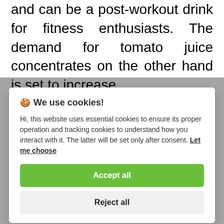and can be a post-workout drink for fitness enthusiasts. The demand for tomato juice concentrates on the other hand is set to increase.
This increase in demand can be
🍪 We use cookies!

Hi, this website uses essential cookies to ensure its proper operation and tracking cookies to understand how you interact with it. The latter will be set only after consent. Let me choose

[Accept all] [Reject all]
boost the nutritional content in the